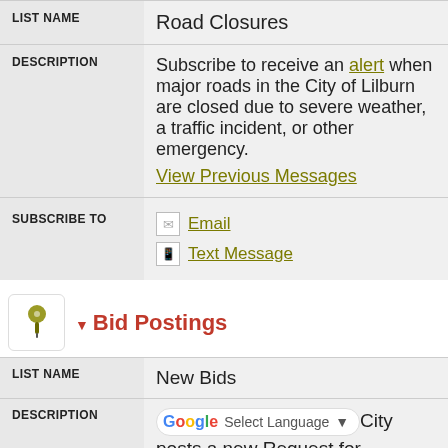| LIST NAME |  |
| --- | --- |
| LIST NAME | Road Closures |
| DESCRIPTION | Subscribe to receive an alert when major roads in the City of Lilburn are closed due to severe weather, a traffic incident, or other emergency. View Previous Messages |
| SUBSCRIBE TO | Email
Text Message |
Bid Postings
| LIST NAME |  |
| --- | --- |
| LIST NAME | New Bids |
| DESCRIPTION | [Select Language] City posts a new Request for |